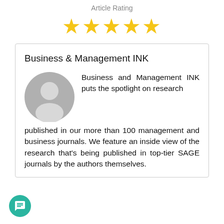Article Rating
[Figure (other): Five gold stars rating display]
Business & Management INK
[Figure (illustration): Grey circular avatar/profile placeholder image]
Business and Management INK puts the spotlight on research published in our more than 100 management and business journals. We feature an inside view of the research that's being published in top-tier SAGE journals by the authors themselves.